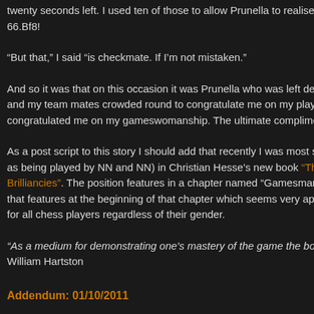twenty seconds left. I used ten of those to allow Prunella to realise that 66.Bf8!
“But that,” I said “is checkmate. If I’m not mistaken.”
And so it was that on this occasion it was Prunella who was left deva and my team mates crowded round to congratulate me on my play. L congratulated me on my gameswomanship. The ultimate complimen
As a post script to this story I should add that recently I was most su as being played by NN and NN) in Christian Hesse’s new book “The Brilliancies”. The position features in a chapter named “Gamesmans that features at the beginning of that chapter which seems very appro for all chess players regardless of their gender.
“As a medium for demonstrating one's mastery of the game the boar William Hartston
Addendum: 01/10/2011
Chessbase